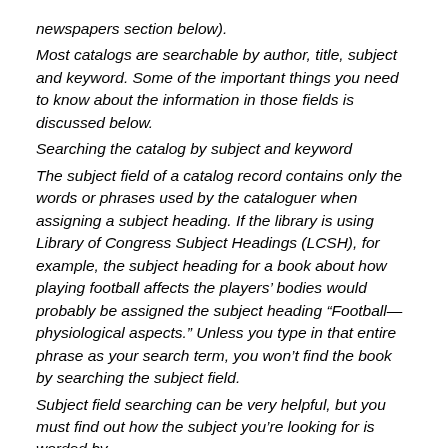newspapers section below).
Most catalogs are searchable by author, title, subject and keyword. Some of the important things you need to know about the information in those fields is discussed below.
Searching the catalog by subject and keyword
The subject field of a catalog record contains only the words or phrases used by the cataloguer when assigning a subject heading. If the library is using Library of Congress Subject Headings (LCSH), for example, the subject heading for a book about how playing football affects the players’ bodies would probably be assigned the subject heading “Football—physiological aspects.” Unless you type in that entire phrase as your search term, you won’t find the book by searching the subject field.
Subject field searching can be very helpful, but you must find out how the subject you’re looking for is worded by